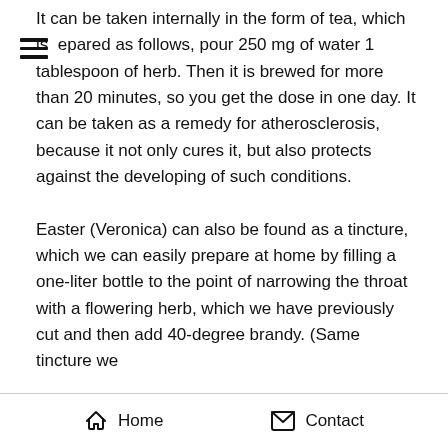It can be taken internally in the form of tea, which is epared as follows, pour 250 mg of water 1 tablespoon of herb. Then it is brewed for more than 20 minutes, so you get the dose in one day. It can be taken as a remedy for atherosclerosis, because it not only cures it, but also protects against the developing of such conditions.

Easter (Veronica) can also be found as a tincture, which we can easily prepare at home by filling a one-liter bottle to the point of narrowing the throat with a flowering herb, which we have previously cut and then add 40-degree brandy. (Same tincture we
Home   Contact